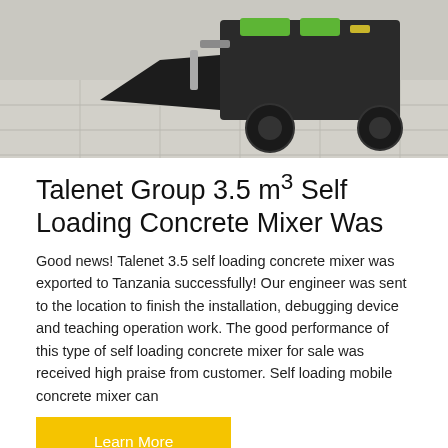[Figure (photo): Self-loading concrete mixer machine, green and black, viewed from rear angle on a tiled surface]
Talenet Group 3.5 m³ Self Loading Concrete Mixer Was
Good news! Talenet 3.5 self loading concrete mixer was exported to Tanzania successfully! Our engineer was sent to the location to finish the installation, debugging device and teaching operation work. The good performance of this type of self loading concrete mixer for sale was received high praise from customer. Self loading mobile concrete mixer can
Learn More
[Figure (photo): Bottom portion of another piece of machinery on a blue background, partially visible]